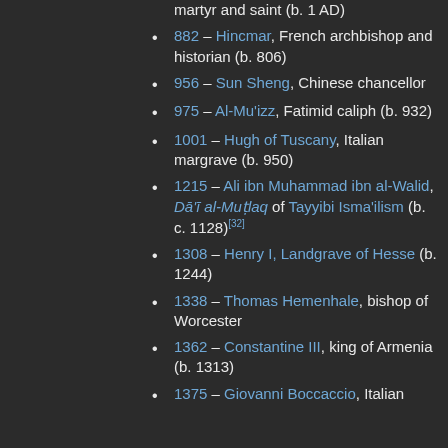(partial) martyr and saint (b. 1 AD)
882 – Hincmar, French archbishop and historian (b. 806)
956 – Sun Sheng, Chinese chancellor
975 – Al-Mu'izz, Fatimid caliph (b. 932)
1001 – Hugh of Tuscany, Italian margrave (b. 950)
1215 – Ali ibn Muhammad ibn al-Walid, Dā'ī al-Muṭlaq of Tayyibi Isma'ilism (b. c. 1128)[32]
1308 – Henry I, Landgrave of Hesse (b. 1244)
1338 – Thomas Hemenhale, bishop of Worcester
1362 – Constantine III, king of Armenia (b. 1313)
1375 – Giovanni Boccaccio, Italian